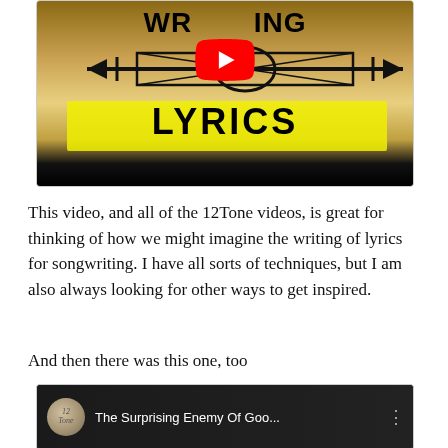[Figure (screenshot): YouTube video thumbnail showing hand-drawn text 'WRITING LYRICS' with a guitar and YouTube play button on a brown/tan background]
This video, and all of the 12Tone videos, is great for thinking of how we might imagine the writing of lyrics for songwriting. I have all sorts of techniques, but I am also always looking for other ways to get inspired.
And then there was this one, too
[Figure (screenshot): YouTube video thumbnail showing '12Tone' channel icon and title 'The Surprising Enemy Of Goo...' on dark background]